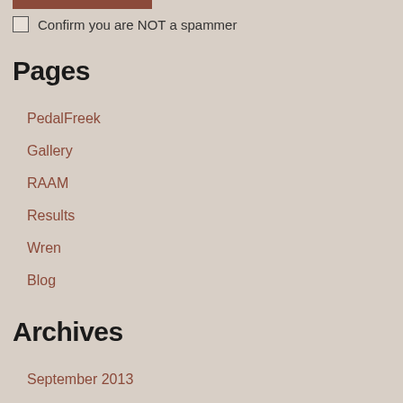Confirm you are NOT a spammer
Pages
PedalFreek
Gallery
RAAM
Results
Wren
Blog
Archives
September 2013
June 2013
May 2013
Categories